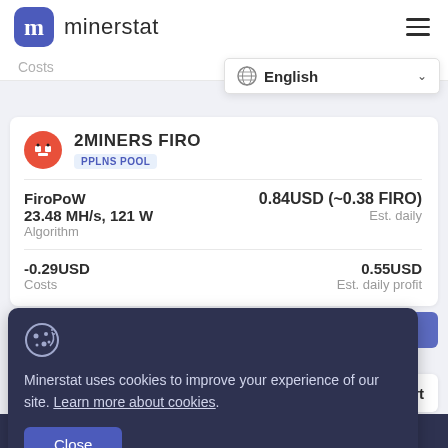minerstat
Costs
English
2MINERS FIRO
PPLNS POOL
FiroPoW
23.48 MH/s, 121 W
Algorithm
0.84USD (~0.38 FIRO)
Est. daily
-0.29USD
Costs
0.55USD
Est. daily profit
Load all coins
Minerstat uses cookies to improve your experience of our site. Learn more about cookies.
Close
Report